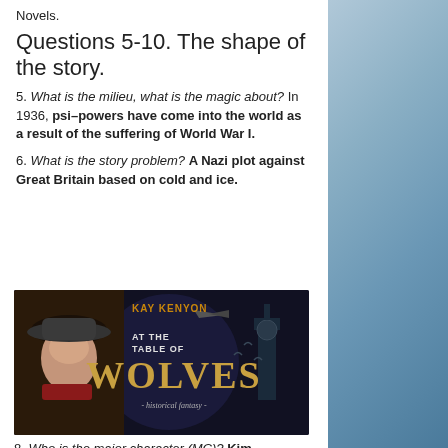Novels.
Questions 5-10. The shape of the story.
5. What is the milieu, what is the magic about? In 1936, psi-powers have come into the world as a result of the suffering of World War I.
6. What is the story problem? A Nazi plot against Great Britain based on cold and ice.
[Figure (photo): Book cover for 'At the Table of Wolves' by Kay Kenyon, showing a woman in a hat with London skyline, historical fantasy]
8. Who is the major character (MC)? Kim Tavistock, a determined woman whose